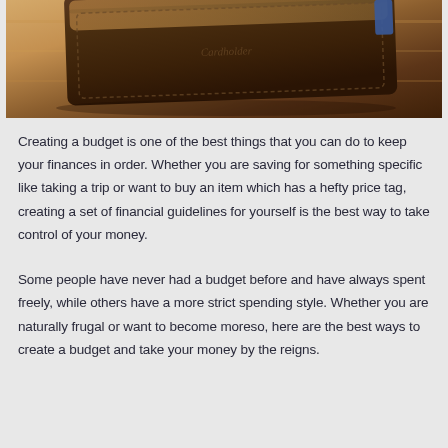[Figure (photo): Close-up photo of a brown leather wallet on a wooden surface]
Creating a budget is one of the best things that you can do to keep your finances in order.  Whether you are saving for something specific like taking a trip or want to buy an item which has a hefty price tag, creating a set of financial guidelines for yourself is the best way to take control of your money.
Some people have never had a budget before and have always spent freely, while others have a more strict spending style.  Whether you are naturally frugal or want to become moreso, here are the best ways to create a budget and take your money by the reigns.